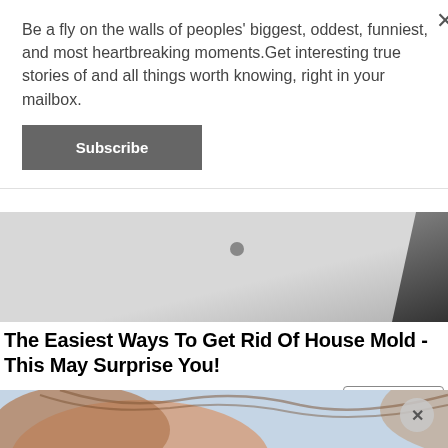Be a fly on the walls of peoples' biggest, oddest, funniest, and most heartbreaking moments.Get interesting true stories of and all things worth knowing, right in your mailbox.
Subscribe
[Figure (photo): Close-up of a white ceiling with a small screw/nail and a dark crack/mold in the upper right corner.]
The Easiest Ways To Get Rid Of House Mold - This May Surprise You!
Mold Removal | Search Ads
Search Now
[Figure (photo): Close-up photo of a person's hair and neck, partially visible, with a light blue background.]